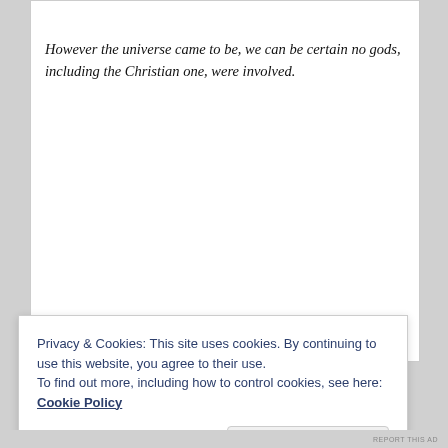However the universe came to be, we can be certain no gods, including the Christian one, were involved.
Privacy & Cookies: This site uses cookies. By continuing to use this website, you agree to their use.
To find out more, including how to control cookies, see here: Cookie Policy
Close and accept
REPORT THIS AD